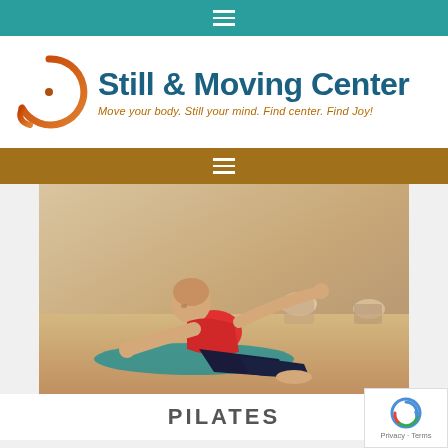≡ (teal navigation bar)
[Figure (logo): Still & Moving Center logo with circular orange/brown swirl icon]
Still & Moving Center
Move your body. Still your mind. Find center.  Find Joy!
≡ (brown navigation bar)
[Figure (photo): A man in a red tank top and dark pants performing a Pilates exercise on a teal mat on a wooden floor, with other people exercising in the background]
PILATES